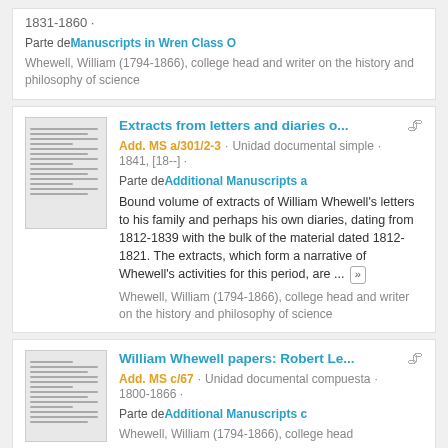1831-1860 · Parte de Manuscripts in Wren Class O. Whewell, William (1794-1866), college head and writer on the history and philosophy of science
Extracts from letters and diaries o... Add. MS a/301/2-3 · Unidad documental simple · 1841, [18--] · Parte de Additional Manuscripts a. Bound volume of extracts of William Whewell's letters to his family and perhaps his own diaries, dating from 1812-1839 with the bulk of the material dated 1812-1821. The extracts, which form a narrative of Whewell's activities for this period, are ... » Whewell, William (1794-1866), college head and writer on the history and philosophy of science
William Whewell papers: Robert Le... Add. MS c/67 · Unidad documental compuesta · 1800-1866 · Parte de Additional Manuscripts c. Whewell, William (1794-1866), college head